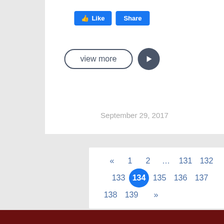[Figure (screenshot): Facebook Like and Share buttons]
[Figure (screenshot): View more button with play icon]
September 29, 2017
[Figure (screenshot): Pagination navigation with pages: « 1 2 … 131 132 133 134 (active) 135 136 137 138 139 »]